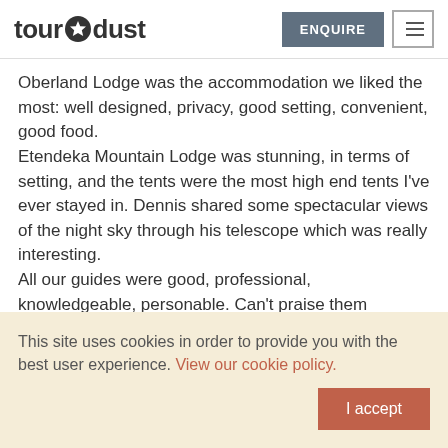tour dust | ENQUIRE
Oberland Lodge was the accommodation we liked the most: well designed, privacy, good setting, convenient, good food.
Etendeka Mountain Lodge was stunning, in terms of setting, and the tents were the most high end tents I've ever stayed in. Dennis shared some spectacular views of the night sky through his telescope which was really interesting.
All our guides were good, professional, knowledgeable, personable. Can't praise them enough.
A highlight was the catamaran tour, both our boys had this as their top excursion I think. I'd have preferred a tour with a few less people but not a big issue.
This site uses cookies in order to provide you with the best user experience. View our cookie policy.